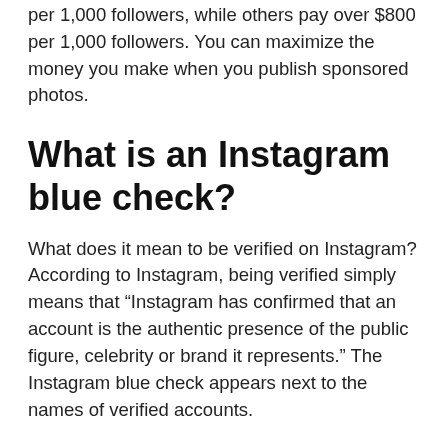per 1,000 followers, while others pay over $800 per 1,000 followers. You can maximize the money you make when you publish sponsored photos.
What is an Instagram blue check?
What does it mean to be verified on Instagram? According to Instagram, being verified simply means that “Instagram has confirmed that an account is the authentic presence of the public figure, celebrity or brand it represents.” The Instagram blue check appears next to the names of verified accounts.